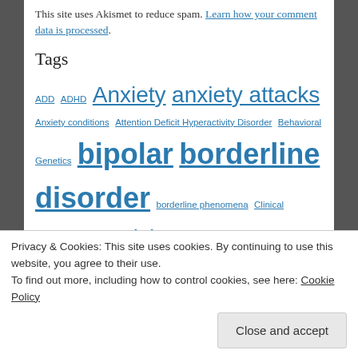This site uses Akismet to reduce spam. Learn how your comment data is processed.
Tags
ADD ADHD Anxiety anxiety attacks Anxiety conditions Attention Deficit Hyperactivity Disorder Behavioral Genetics bipolar borderline disorder borderline phenomena Clinical Psychiatry creativity depression ECT Evolutionary Biology geniuses health life expirence lifestyle major mental disorder marriage mental illness MMD MMDs
Privacy & Cookies: This site uses cookies. By continuing to use this website, you agree to their use. To find out more, including how to control cookies, see here: Cookie Policy
Close and accept